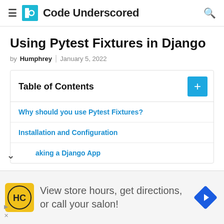Code Underscored
Using Pytest Fixtures in Django
by Humphrey | January 5, 2022
Table of Contents
Why should you use Pytest Fixtures?
Installation and Configuration
Making a Django App
[Figure (infographic): Advertisement banner: HC salon logo, text 'View store hours, get directions, or call your salon!']